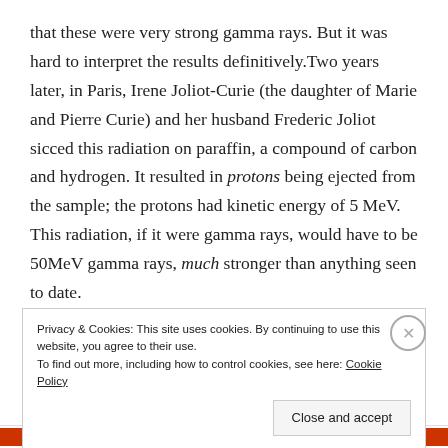that these were very strong gamma rays. But it was hard to interpret the results definitively. Two years later, in Paris, Irene Joliot-Curie (the daughter of Marie and Pierre Curie) and her husband Frederic Joliot sicced this radiation on paraffin, a compound of carbon and hydrogen. It resulted in protons being ejected from the sample; the protons had kinetic energy of 5 MeV. This radiation, if it were gamma rays, would have to be 50MeV gamma rays, much stronger than anything seen to date.
Privacy & Cookies: This site uses cookies. By continuing to use this website, you agree to their use. To find out more, including how to control cookies, see here: Cookie Policy